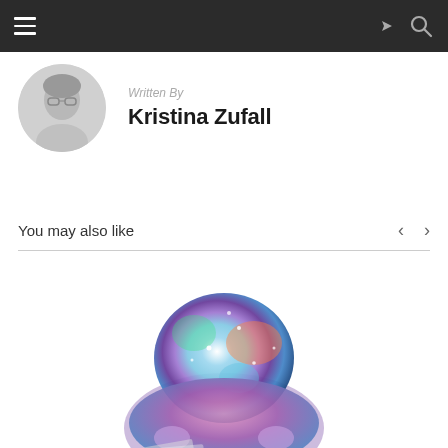Navigation bar with hamburger menu, share icon, and search icon
Written By
Kristina Zufall
You may also like
[Figure (illustration): Colorful watercolor-style illustration of a person with galaxy/nebula patterned hair and clothing, hugging their knees, viewed from above/side.]